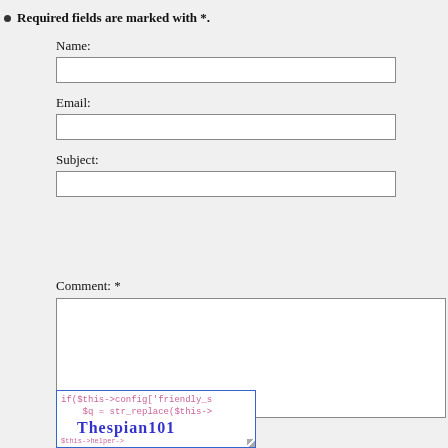Required fields are marked with *.
Name:
Email:
Subject:
Comment: *
[Figure (screenshot): CAPTCHA image showing PHP code in background with 'Thespian101' overlaid as distorted text]